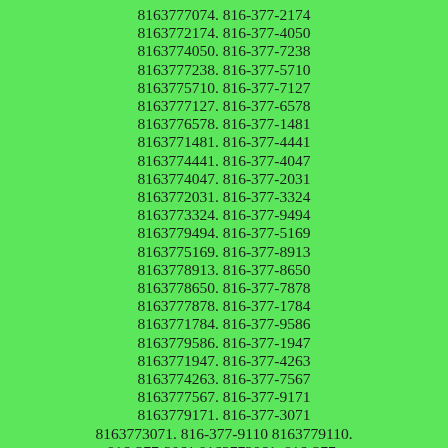8163777074. 816-377-2174 8163772174. 816-377-4050 8163774050. 816-377-7238 8163777238. 816-377-5710 8163775710. 816-377-7127 8163777127. 816-377-6578 8163776578. 816-377-1481 8163771481. 816-377-4441 8163774441. 816-377-4047 8163774047. 816-377-2031 8163772031. 816-377-3324 8163773324. 816-377-9494 8163779494. 816-377-5169 8163775169. 816-377-8913 8163778913. 816-377-8650 8163778650. 816-377-7878 8163777878. 816-377-1784 8163771784. 816-377-9586 8163779586. 816-377-1947 8163771947. 816-377-4263 8163774263. 816-377-7567 8163777567. 816-377-9171 8163779171. 816-377-3071 8163773071. 816-377-9110 8163779110. 816-377-2061 8163772061. 816-377-